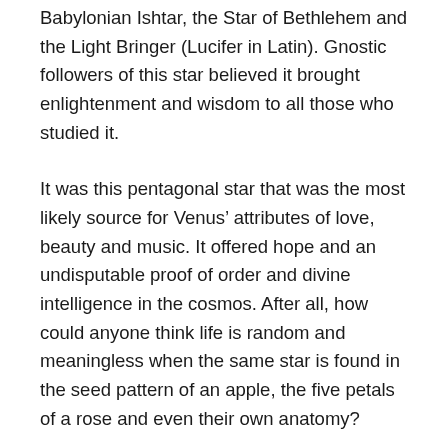Babylonian Ishtar, the Star of Bethlehem and the Light Bringer (Lucifer in Latin). Gnostic followers of this star believed it brought enlightenment and wisdom to all those who studied it.
It was this pentagonal star that was the most likely source for Venus’ attributes of love, beauty and music. It offered hope and an undisputable proof of order and divine intelligence in the cosmos. After all, how could anyone think life is random and meaningless when the same star is found in the seed pattern of an apple, the five petals of a rose and even their own anatomy?